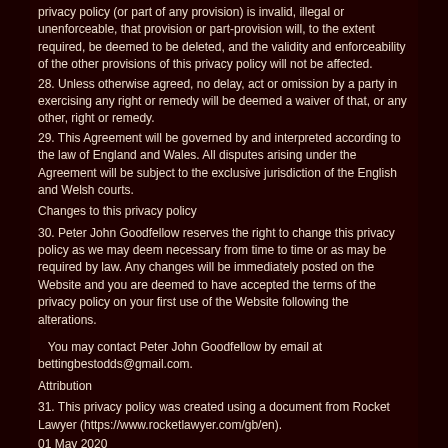privacy policy (or part of any provision) is invalid, illegal or unenforceable, that provision or part-provision will, to the extent required, be deemed to be deleted, and the validity and enforceability of the other provisions of this privacy policy will not be affected.
28.  Unless otherwise agreed, no delay, act or omission by a party in exercising any right or remedy will be deemed a waiver of that, or any other, right or remedy.
29.  This Agreement will be governed by and interpreted according to the law of England and Wales. All disputes arising under the Agreement will be subject to the exclusive jurisdiction of the English and Welsh courts.
Changes to this privacy policy
30.  Peter John Goodfellow reserves the right to change this privacy policy as we may deem necessary from time to time or as may be required by law. Any changes will be immediately posted on the Website and you are deemed to have accepted the terms of the privacy policy on your first use of the Website following the alterations.
You may contact Peter John Goodfellow by email at bettingbestodds@gmail.com.
Attribution
31.  This privacy policy was created using a document from Rocket Lawyer (https://www.rocketlawyer.com/gb/en).
01 May 2020